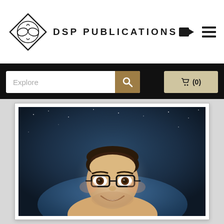DSP PUBLICATIONS
[Figure (photo): Author portrait photo: a smiling man with dark hair, glasses, and light stubble, set against a space/cosmic background with a planet silhouette and stars.]